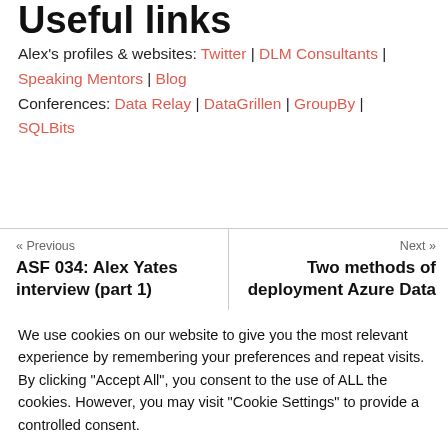Useful links
Alex's profiles & websites: Twitter | DLM Consultants | Speaking Mentors | Blog
Conferences: Data Relay | DataGrillen | GroupBy | SQLBits
« Previous
ASF 034: Alex Yates interview (part 1)
Next »
Two methods of deployment Azure Data
We use cookies on our website to give you the most relevant experience by remembering your preferences and repeat visits. By clicking "Accept All", you consent to the use of ALL the cookies. However, you may visit "Cookie Settings" to provide a controlled consent.
Cookie Settings
Accept All